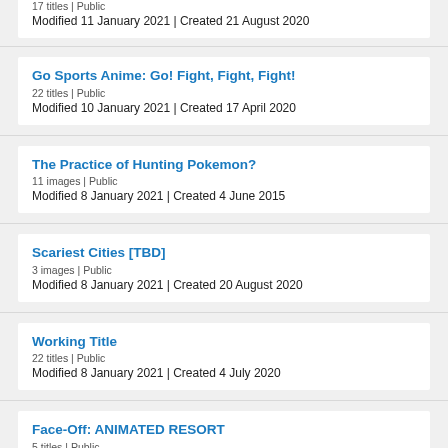17 titles | Public
Modified 11 January 2021 | Created 21 August 2020
Go Sports Anime: Go! Fight, Fight, Fight!
22 titles | Public
Modified 10 January 2021 | Created 17 April 2020
The Practice of Hunting Pokemon?
11 images | Public
Modified 8 January 2021 | Created 4 June 2015
Scariest Cities [TBD]
3 images | Public
Modified 8 January 2021 | Created 20 August 2020
Working Title
22 titles | Public
Modified 8 January 2021 | Created 4 July 2020
Face-Off: ANIMATED RESORT
5 titles | Public
Modified 8 January 2021 | Created 10 February 2016
Give them credit?